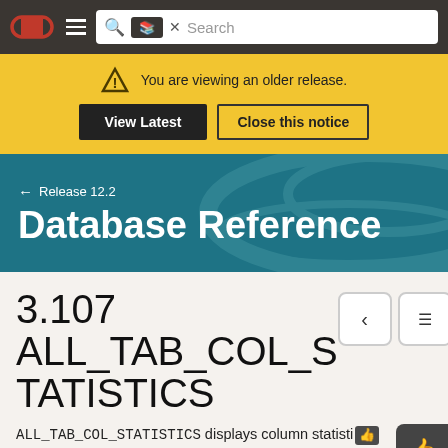[Figure (screenshot): Oracle documentation website navigation bar with Oracle logo, hamburger menu, and search box]
You are viewing an older release.
View Latest | Close this notice
← Release 12.2
Database Reference
3.107 ALL_TAB_COL_STATISTICS
ALL_TAB_COL_STATISTICS displays column statistics and histogram information extracted from